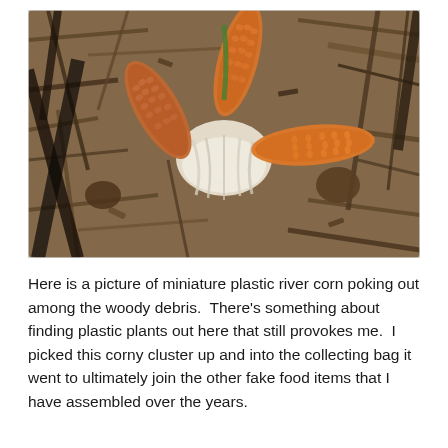[Figure (photo): Close-up photograph of miniature plastic river corn (orange corn cobs) poking out among woody debris, dry sticks, and bark mulch on the ground.]
Here is a picture of miniature plastic river corn poking out among the woody debris.  There's something about finding plastic plants out here that still provokes me.  I picked this corny cluster up and into the collecting bag it went to ultimately join the other fake food items that I have assembled over the years.